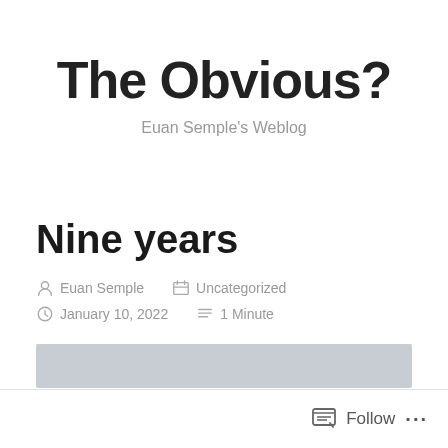The Obvious?
Euan Semple's Weblog
Nine years
Euan Semple   Uncategorized
January 10, 2022   1 Minute
Follow